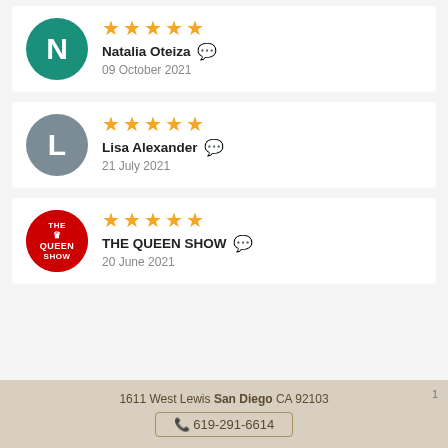5 stars — Natalia Oteiza — 09 October 2021
5 stars — Lisa Alexander — 21 July 2021
5 stars — THE QUEEN SHOW — 20 June 2021
1611 West Lewis San Diego CA 92103 · 619-291-6614